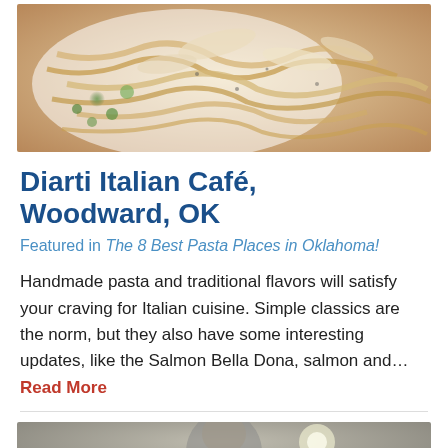[Figure (photo): Close-up photo of Italian pasta dish with fettuccine, shaved parmesan or truffle, and herbs on a white plate]
Diarti Italian Café, Woodward, OK
Featured in The 8 Best Pasta Places in Oklahoma!
Handmade pasta and traditional flavors will satisfy your craving for Italian cuisine. Simple classics are the norm, but they also have some interesting updates, like the Salmon Bella Dona, salmon and... Read More
[Figure (photo): Partial photo visible at bottom of page, appears to show a person in an indoor setting]